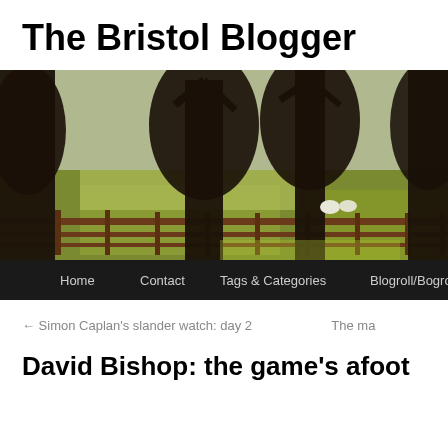The Bristol Blogger
[Figure (photo): Outdoor scene with large bare trees in a park or field, a wooden fence running horizontally across the middle, two sheep visible in the background, and sunlight casting shadows on grass. Navigation bar at bottom with menu items: Home, Contact, Tags & Categories, Blogroll/Bogroll, What?]
← Simon Caplan's slander watch: day 2    The ma
David Bishop: the game's afoot